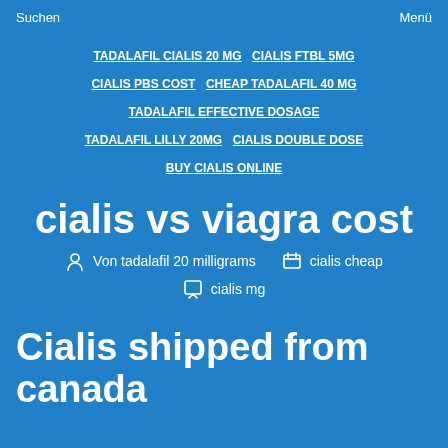Suchen    Menü
TADALAFIL CIALIS 20 MG   CIALIS FTBL 5MG   CIALIS PBS COST   CHEAP TADALAFIL 40 MG   TADALAFIL EFFECTIVE DOSAGE   TADALAFIL LILLY 20MG   CIALIS DOUBLE DOSE   BUY CIALIS ONLINE
cialis vs viagra cost
Von tadalafil 20 milligrams   cialis cheap   cialis mg
Cialis shipped from canada